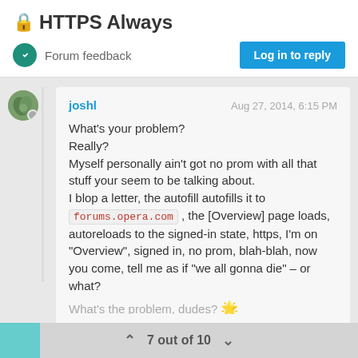🔒 HTTPS Always
Forum feedback
Log in to reply
joshl   Aug 27, 2014, 6:15 PM

What's your problem?
Really?
Myself personally ain't got no prom with all that stuff your seem to be talking about.
I blop a letter, the autofill autofills it to forums.opera.com , the [Overview] page loads, autoreloads to the signed-in state, https, I'm on "Overview", signed in, no prom, blah-blah, now you come, tell me as if "we all gonna die" – or what?
What's the problem, dudes?
7 out of 10